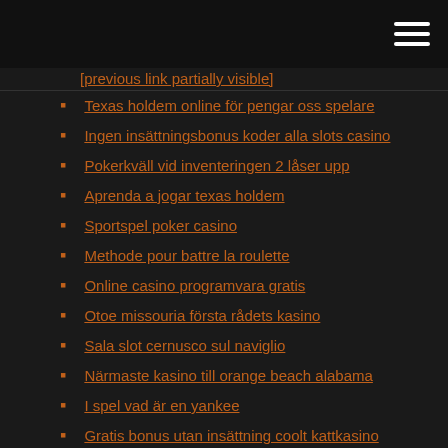[hamburger menu icon]
Texas holdem online för pengar oss spelare
Ingen insättningsbonus koder alla slots casino
Pokerkväll vid inventeringen 2 låser upp
Aprenda a jogar texas holdem
Sportspel poker casino
Methode pour battre la roulette
Online casino programvara gratis
Otoe missouria första rådets kasino
Sala slot cernusco sul naviglio
Närmaste kasino till orange beach alabama
I spel vad är en yankee
Gratis bonus utan insättning coolt kattkasino
Irländsk pubkrona casino melbourne
Vikki och vance casino glitch